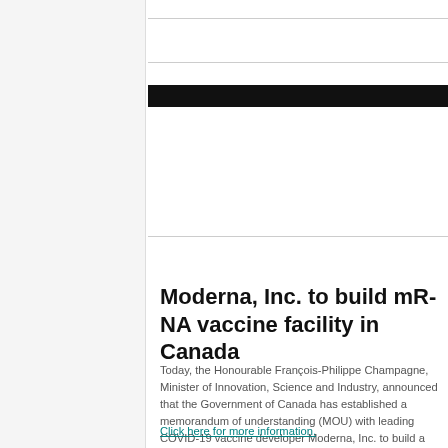Moderna, Inc. to build mRNA vaccine facility in Canada
Today, the Honourable François-Philippe Champagne, Minister of Innovation, Science and Industry, announced that the Government of Canada has established a memorandum of understanding (MOU) with leading COVID-19 vaccine developer Moderna, Inc. to build a state-of-the-art mRNA vaccine production facility in Canada.
Click here for more information.